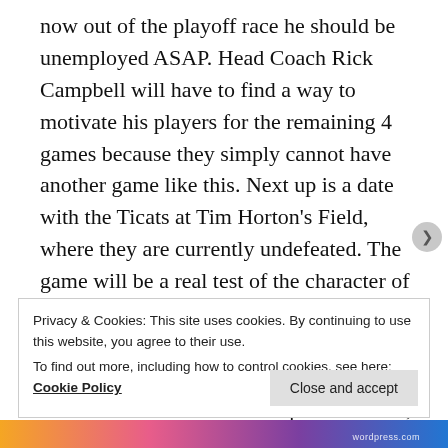now out of the playoff race he should be unemployed ASAP. Head Coach Rick Campbell will have to find a way to motivate his players for the remaining 4 games because they simply cannot have another game like this. Next up is a date with the Ticats at Tim Horton's Field, where they are currently undefeated. The game will be a real test of the character of the guys on the team, as R-Nation will easily be able to see who mails it in and who still gives it their all. Expectations need to be realistic for an expansion team, but there's no way fans will tolerate the team laying eggs like this.
Privacy & Cookies: This site uses cookies. By continuing to use this website, you agree to their use.
To find out more, including how to control cookies, see here: Cookie Policy